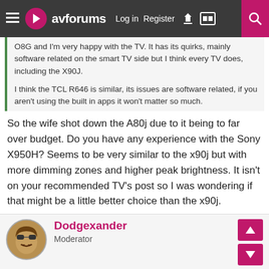avforums | Log in | Register
O8G and I'm very happy with the TV. It has its quirks, mainly software related on the smart TV side but I think every TV does, including the X90J.
I think the TCL R646 is similar, its issues are software related, if you aren't using the built in apps it won't matter so much.
So the wife shot down the A80j due to it being to far over budget. Do you have any experience with the Sony X950H? Seems to be very similar to the x90j but with more dimming zones and higher peak brightness. It isn't on your recommended TV's post so I was wondering if that might be a little better choice than the x90j.
Dodgexander
Moderator
Mar 7, 2022
#9
doner005 said: